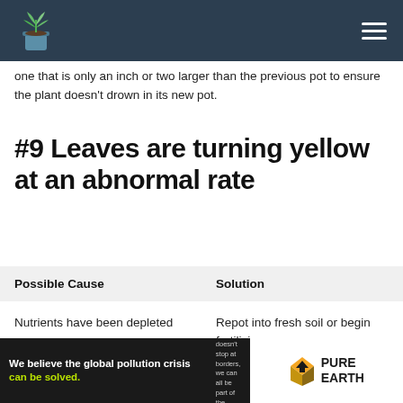Plant care website header with logo and navigation menu
one that is only an inch or two larger than the previous pot to ensure the plant doesn't drown in its new pot.
#9 Leaves are turning yellow at an abnormal rate
| Possible Cause | Solution |
| --- | --- |
| Nutrients have been depleted | Repot into fresh soil or begin fertilizing |
| Potting mix is staying | Check root health and |
[Figure (infographic): Advertisement banner for Pure Earth: 'We believe the global pollution crisis can be solved. In a world where pollution doesn't stop at borders, we can all be part of the solution. JOIN US.' with Pure Earth logo.]